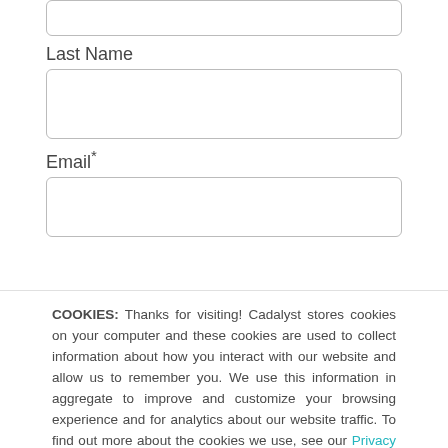[input box top]
Last Name
[Last Name input box]
Email*
[Email input box]
COOKIES: Thanks for visiting! Cadalyst stores cookies on your computer and these cookies are used to collect information about how you interact with our website and allow us to remember you. We use this information in aggregate to improve and customize your browsing experience and for analytics about our website traffic. To find out more about the cookies we use, see our Privacy Policy.
If you decline we won't track your information when you visit our site but, in order to comply with your preferences, we'll have to use just one tiny cookie so that you're not asked to make this choice again.
Accept
Decline